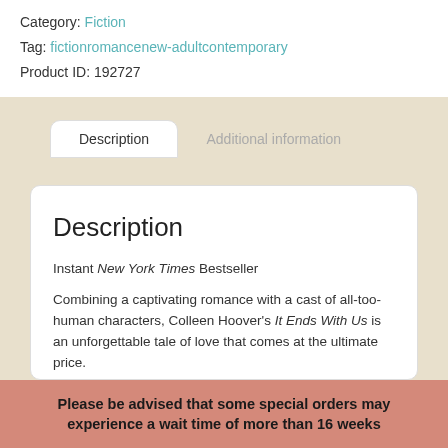Category: Fiction
Tag: fictionromancenew-adultcontemporary
Product ID: 192727
Description
Additional information
Description
Instant New York Times Bestseller
Combining a captivating romance with a cast of all-too-human characters, Colleen Hoover's It Ends With Us is an unforgettable tale of love that comes at the ultimate price.
Please be advised that some special orders may experience a wait time of more than 16 weeks